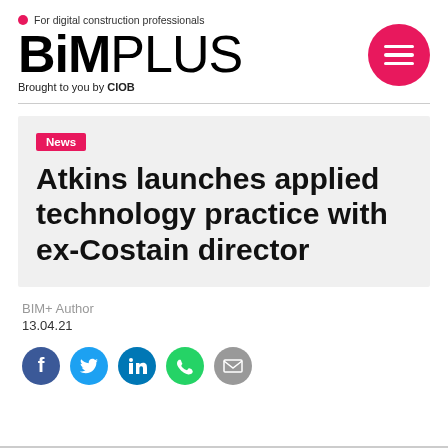BIM+ For digital construction professionals Brought to you by CIOB
[Figure (logo): BIMPlus logo with tagline 'For digital construction professionals' and 'Brought to you by CIOB', with hamburger menu icon in pink circle]
News
Atkins launches applied technology practice with ex-Costain director
BIM+ Author
13.04.21
[Figure (infographic): Social media share icons: Facebook (blue), Twitter (blue), LinkedIn (blue), Phone/WhatsApp (green), Email (grey)]